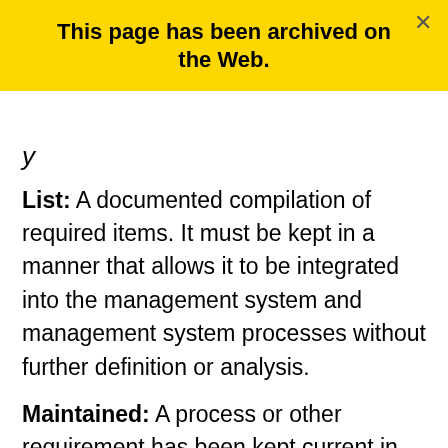This page has been archived on the Web.
List: A documented compilation of required items. It must be kept in a manner that allows it to be integrated into the management system and management system processes without further definition or analysis.
Maintained: A process or other requirement has been kept current in the format required and continues to meet regulatory requirements. With documents,